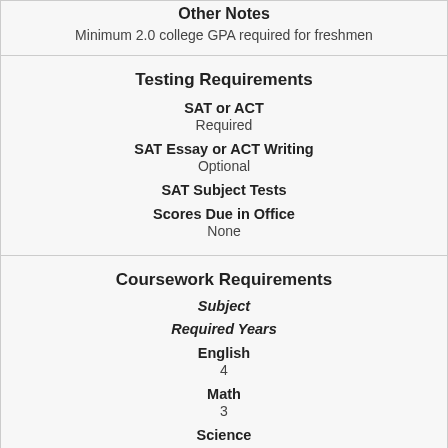Other Notes
Minimum 2.0 college GPA required for freshmen
Testing Requirements
SAT or ACT
Required
SAT Essay or ACT Writing
Optional
SAT Subject Tests
Scores Due in Office
None
Coursework Requirements
Subject
Required Years
English
4
Math
3
Science